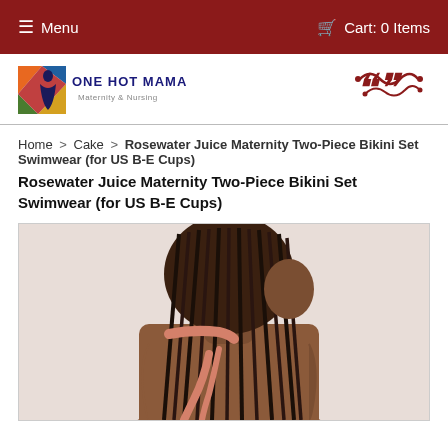☰ Menu   🛒 Cart: 0 Items
[Figure (logo): One Hot Mama Maternity & Nursing logo with colorful graphic and red swirl decoration]
Home > Cake > Rosewater Juice Maternity Two-Piece Bikini Set Swimwear (for US B-E Cups)
Rosewater Juice Maternity Two-Piece Bikini Set Swimwear (for US B-E Cups)
[Figure (photo): Woman with braided hair wearing a salmon/coral colored halter bikini top, shown from behind/side view]